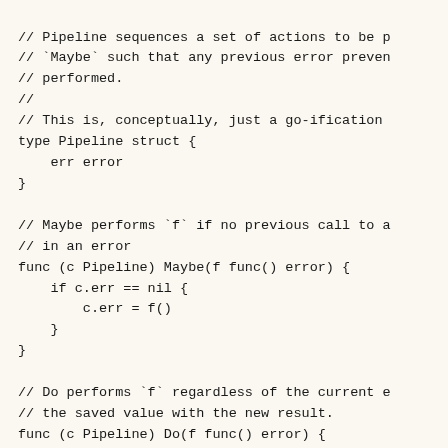// Pipeline sequences a set of actions to be p
// `Maybe` such that any previous error preven
// performed.
//
// This is, conceptually, just a go-ification
type Pipeline struct {
    err error
}

// Maybe performs `f` if no previous call to a
// in an error
func (c Pipeline) Maybe(f func() error) {
    if c.err == nil {
        c.err = f()
    }
}

// Do performs `f` regardless of the current e
// the saved value with the new result.
func (c Pipeline) Do(f func() error) {
    c.err = f()
}

// Error returns the first error encountered i